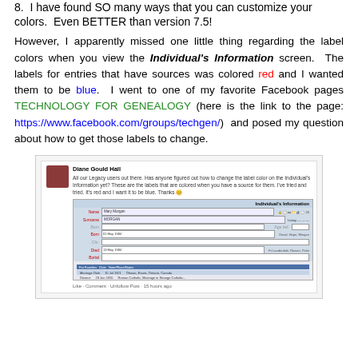8.  I have found SO many ways that you can customize your colors.  Even BETTER than version 7.5!
However, I apparently missed one little thing regarding the label colors when you view the Individual's Information screen.  The labels for entries that have sources was colored red and I wanted them to be blue.  I went to one of my favorite Facebook pages TECHNOLOGY FOR GENEALOGY (here is the link to the page: https://www.facebook.com/groups/techgen/) and posed my question about how to get those labels to change.
[Figure (screenshot): A Facebook post screenshot by Diane Gould Hall asking how to change the label color on the Individual's Information screen from red to blue in Legacy genealogy software, with an embedded screenshot of the Individual's Information screen below the post text.]